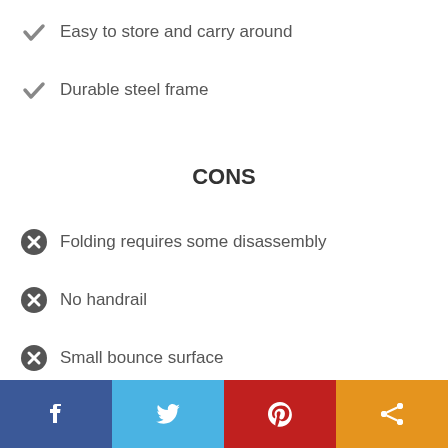Easy to store and carry around
Durable steel frame
CONS
Folding requires some disassembly
No handrail
Small bounce surface